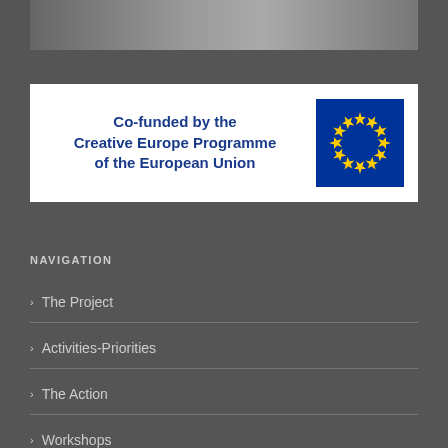[Figure (photo): Top banner image showing a dancer in red with colorful graffiti art background, partially visible]
[Figure (logo): Co-funded by the Creative Europe Programme of the European Union banner with EU flag showing blue background and yellow stars]
NAVIGATION
The Project
Activities-Priorities
The Action
Workshops